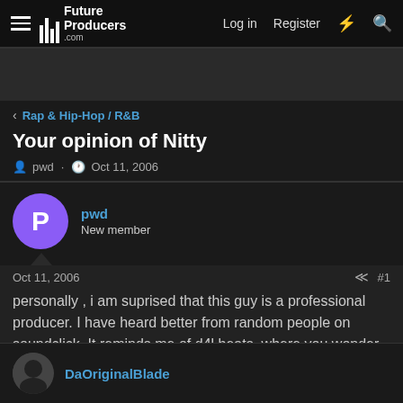Future Producers .com — Log in  Register
Rap & Hip-Hop / R&B
Your opinion of Nitty
pwd · Oct 11, 2006
pwd
New member
Oct 11, 2006  #1
personally , i am suprised that this guy is a professional producer. I have heard better from random people on soundclick. It reminds me of d4l beats, where you wonder how someone could seel it at pro level.
DaOriginalBlade